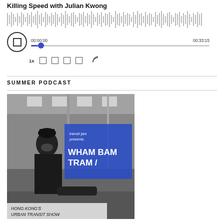Killing Speed with Julian Kwong
[Figure (other): Audio player with waveform visualization, stop button, progress bar showing 00:00:00 to 00:33:15, speed controls at 1x and playback icons]
SUMMER PODCAST
[Figure (photo): Black and white photo of a person sitting on a tram/subway car with legs up, with a blue overlay rectangle showing text: 'transit jam presents WHAM BAM TRAM/' and caption 'HONG KONG'S URBAN TRANSIT SHOW']